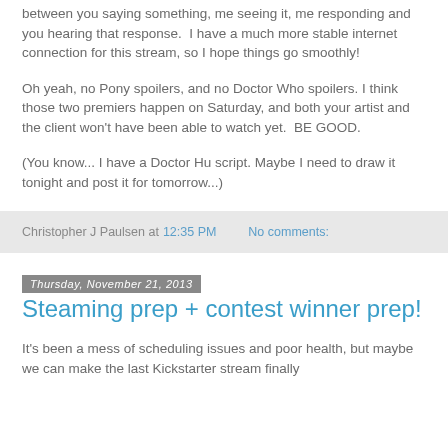between you saying something, me seeing it, me responding and you hearing that response.  I have a much more stable internet connection for this stream, so I hope things go smoothly!
Oh yeah, no Pony spoilers, and no Doctor Who spoilers. I think those two premiers happen on Saturday, and both your artist and the client won't have been able to watch yet.  BE GOOD.
(You know... I have a Doctor Hu script. Maybe I need to draw it tonight and post it for tomorrow...)
Christopher J Paulsen at 12:35 PM    No comments:
Thursday, November 21, 2013
Steaming prep + contest winner prep!
It's been a mess of scheduling issues and poor health, but maybe we can make the last Kickstarter stream finally